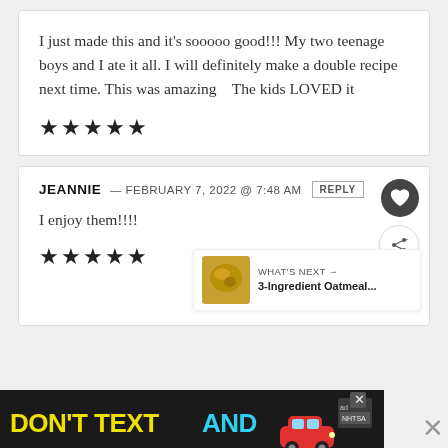I just made this and it's sooooo good!!! My two teenage boys and I ate it all. I will definitely make a double recipe next time. This was amazing   The kids LOVED it
★★★★★
JEANNIE — FEBRUARY 7, 2022 @ 7:48 AM  REPLY
I enjoy them!!!!
★★★★★
[Figure (infographic): Advertisement banner: DON'T TEXT AND [car emoji] with ad label and NHTSA logo]